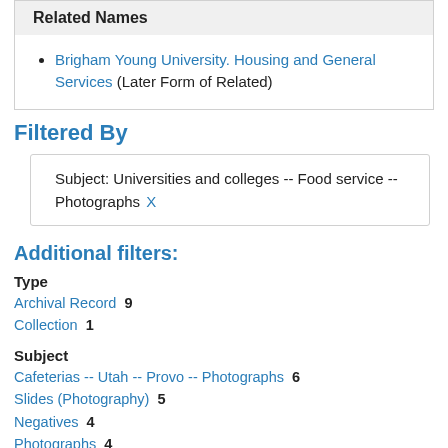Related Names
Brigham Young University. Housing and General Services (Later Form of Related)
Filtered By
Subject: Universities and colleges -- Food service -- Photographs X
Additional filters:
Type
Archival Record  9
Collection  1
Subject
Cafeterias -- Utah -- Provo -- Photographs  6
Slides (Photography)  5
Negatives  4
Photographs  4